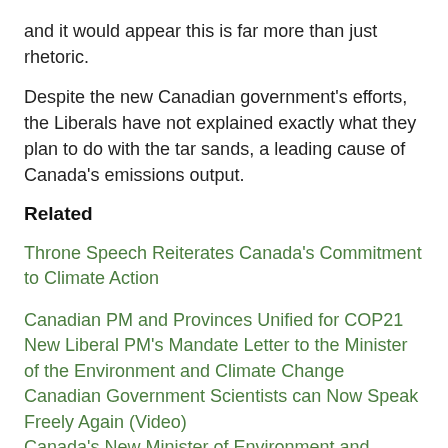and it would appear this is far more than just rhetoric.
Despite the new Canadian government's efforts, the Liberals have not explained exactly what they plan to do with the tar sands, a leading cause of Canada's emissions output.
Related
Throne Speech Reiterates Canada's Commitment to Climate Action
Canadian PM and Provinces Unified for COP21
New Liberal PM's Mandate Letter to the Minister of the Environment and Climate Change
Canadian Government Scientists can Now Speak Freely Again (Video)
Canada's New Minister of Environment and Climate